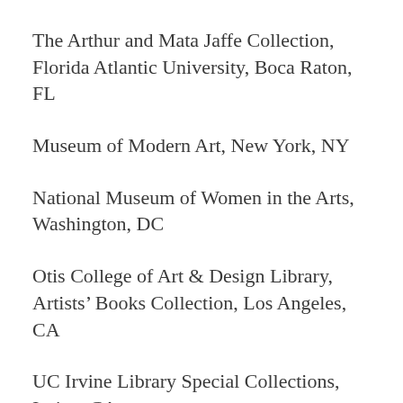The Arthur and Mata Jaffe Collection, Florida Atlantic University, Boca Raton, FL
Museum of Modern Art, New York, NY
National Museum of Women in the Arts, Washington, DC
Otis College of Art & Design Library, Artists' Books Collection, Los Angeles, CA
UC Irvine Library Special Collections, Irvine, CA
UCLA Library, Special Collections, Los Angeles,